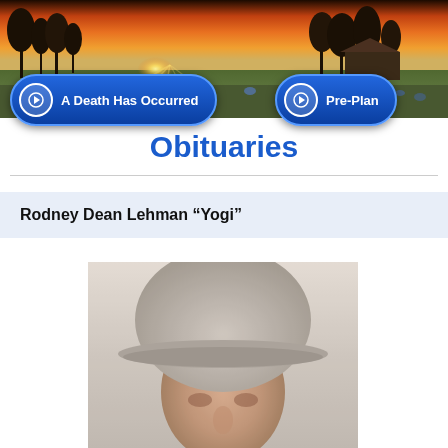[Figure (photo): Header banner with sunset landscape photo showing orange sky, silhouetted trees, green field with bluebonnets]
[Figure (infographic): Blue navigation button with arrow icon labeled 'A Death Has Occurred']
[Figure (infographic): Blue navigation button with arrow icon labeled 'Pre-Plan']
Obituaries
Rodney Dean Lehman “Yogi”
[Figure (photo): Blurry portrait photo of a middle-aged man wearing a light gray baseball cap, face slightly blurred]